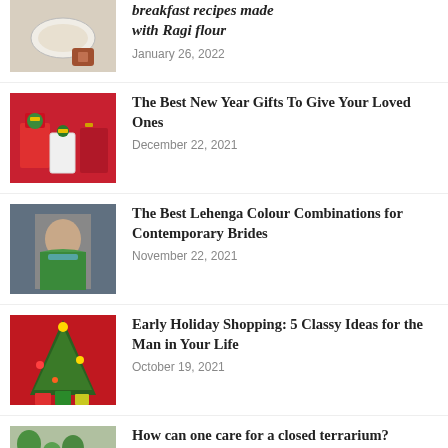[Figure (photo): Bowl with ragi flour and spices on wooden surface]
breakfast recipes made with Ragi flour
January 26, 2022
[Figure (photo): Red and green gift boxes with ribbons]
The Best New Year Gifts To Give Your Loved Ones
December 22, 2021
[Figure (photo): Woman in green and blue lehenga]
The Best Lehenga Colour Combinations for Contemporary Brides
November 22, 2021
[Figure (photo): Christmas tree with gifts on red background]
Early Holiday Shopping: 5 Classy Ideas for the Man in Your Life
October 19, 2021
[Figure (photo): Plants and terrarium in indoor setting]
How can one care for a closed terrarium?
August 15, 2021